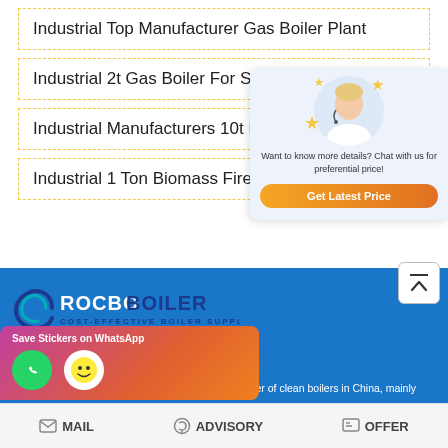Industrial Top Manufacturer Gas Boiler Plant
Industrial 2t Gas Boiler For Sale Moldavia
Industrial Manufacturers 10t Biomass…
Industrial 1 Ton Biomass Fired Boile…
[Figure (other): Chat popup with avatar, stars, text 'Want to know more details? Chat with us for preferential price!' and 'Get Latest Price' orange button]
[Figure (other): Scroll-to-top button with upward arrow]
[Figure (logo): Rocbo Boiler logo - Cost-effective Boiler Supplier]
[Figure (other): WhatsApp stickers popup with 'Save Stickers on WhatsApp' text and two circular icons]
plier of clean boilers in China, mainly
MAIL  ADVISORY  OFFER